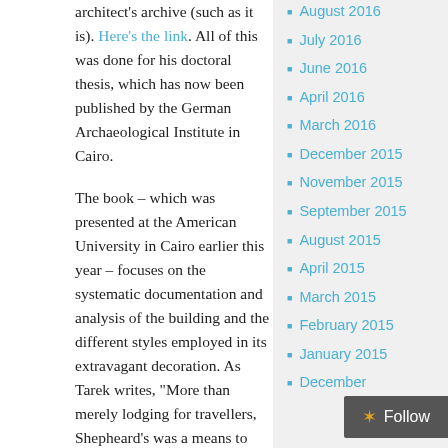architect's archive (such as it is). Here's the link. All of this was done for his doctoral thesis, which has now been published by the German Archaeological Institute in Cairo.
The book – which was presented at the American University in Cairo earlier this year – focuses on the systematic documentation and analysis of the building and the different styles employed in its extravagant decoration. As Tarek writes, "More than merely lodging for travellers, Shepheard's was a means to 'step through the looking glass', the very embodiment of Cairo and the tourist attractions along the Nile,
August 2016
July 2016
June 2016
April 2016
March 2016
December 2015
November 2015
September 2015
August 2015
April 2015
March 2015
February 2015
January 2015
December